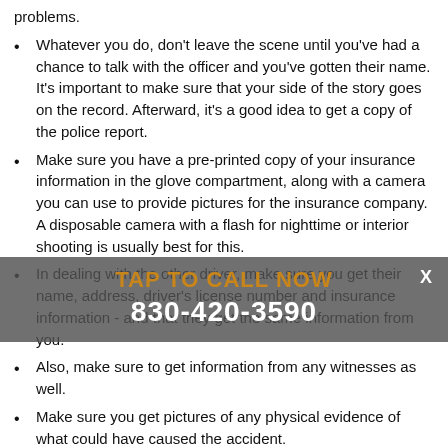problems.
Whatever you do, don't leave the scene until you've had a chance to talk with the officer and you've gotten their name. It's important to make sure that your side of the story goes on the record. Afterward, it's a good idea to get a copy of the police report.
Make sure you have a pre-printed copy of your insurance information in the glove compartment, along with a camera you can use to provide pictures for the insurance company. A disposable camera with a flash for nighttime or interior shooting is usually best for this.
In dealing with the other driver, make sure you get their name, address, driver's license number and insurance information - and that they get the same information from you.
Also, make sure to get information from any witnesses as well.
Make sure you get pictures of any physical evidence of what could have caused the accident.
Write down pertinent details such as where the accident took place, what the weather was like, etc.
Once the information's exchanged, report the accident to the insurance company immediately, even if it's not